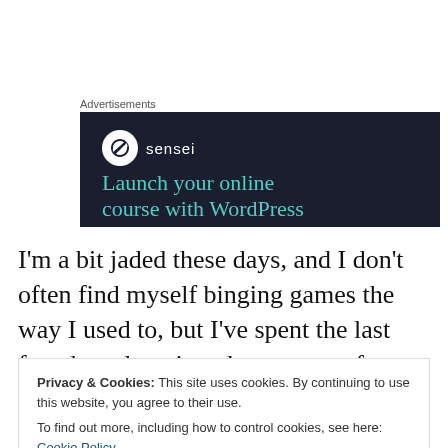Advertisements
[Figure (screenshot): Sensei advertisement banner with dark navy background. Shows Sensei logo (tree icon in white circle) with text 'sensei' beside it, and headline text 'Launch your online course with WordPress' in teal color.]
I'm a bit jaded these days, and I don't often find myself binging games the way I used to, but I've spent the last few days devoting almost every free moment to this game
Privacy & Cookies: This site uses cookies. By continuing to use this website, you agree to their use.
To find out more, including how to control cookies, see here: Cookie Policy
Close and accept